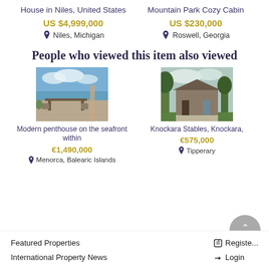House in Niles, United States
US $4,999,000
Niles, Michigan
Mountain Park Cozy Cabin
US $230,000
Roswell, Georgia
People who viewed this item also viewed
[Figure (photo): Modern penthouse terrace with ocean view, outdoor dining table and chairs]
Modern penthouse on the seafront within
€1,490,000
Menorca, Balearic Islands
[Figure (photo): Knockara Stables country house with green trees and gravel driveway]
Knockara Stables, Knockara,
€575,000
Tipperary
Featured Properties   International Property News   Register   Login